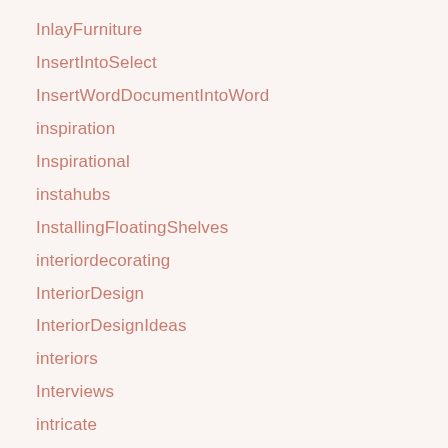InlayFurniture
InsertIntoSelect
InsertWordDocumentIntoWord
inspiration
Inspirational
instahubs
InstallingFloatingShelves
interiordecorating
InteriorDesign
InteriorDesignIdeas
interiors
Interviews
intricate
ipaidforthis
Italy